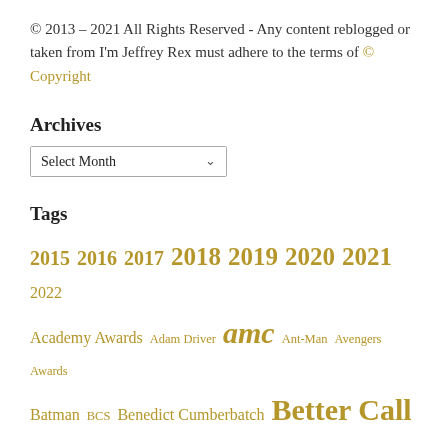© 2013 – 2021 All Rights Reserved - Any content reblogged or taken from I'm Jeffrey Rex must adhere to the terms of © Copyright
Archives
Select Month (dropdown)
Tags
2015 2016 2017 2018 2019 2020 2021 2022 Academy Awards Adam Driver amc Ant-Man Avengers Awards Batman BCS Benedict Cumberbatch Better Call Saul Black Panther Bob Odenkirk BOP Box Office Box Office Predictions Breaking Bad Captain America Chuck McGill Comedy Dagobah Day